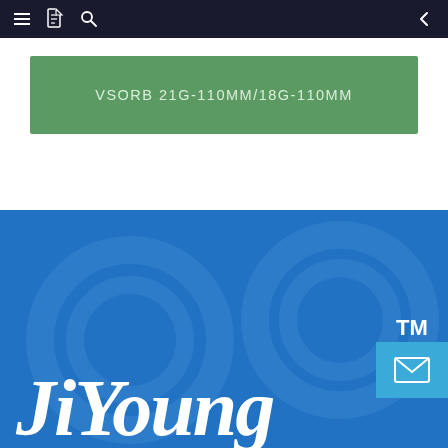Navigation bar with menu, document, search icons and back arrow
VSORB 21G-110MM/18G-110MM
[Figure (logo): JiYoung brand logo in white italic script on blue background with TM trademark symbol and circular pattern watermark]
[Figure (logo): Mail envelope icon in light blue badge at bottom right]